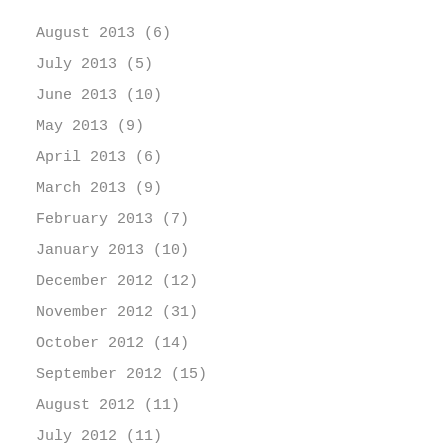August 2013 (6)
July 2013 (5)
June 2013 (10)
May 2013 (9)
April 2013 (6)
March 2013 (9)
February 2013 (7)
January 2013 (10)
December 2012 (12)
November 2012 (31)
October 2012 (14)
September 2012 (15)
August 2012 (11)
July 2012 (11)